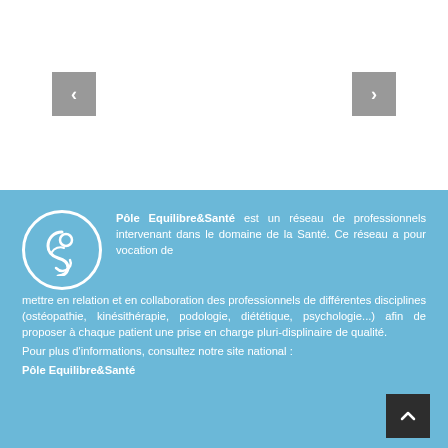[Figure (other): Navigation carousel with left and right arrow buttons on white background]
Pôle Equilibre&Santé est un réseau de professionnels intervenant dans le domaine de la Santé. Ce réseau a pour vocation de mettre en relation et en collaboration des professionnels de différentes disciplines (ostéopathie, kinésithérapie, podologie, diététique, psychologie...) afin de proposer à chaque patient une prise en charge pluri-displinaire de qualité.
Pour plus d'informations, consultez notre site national :
Pôle Equilibre&Santé